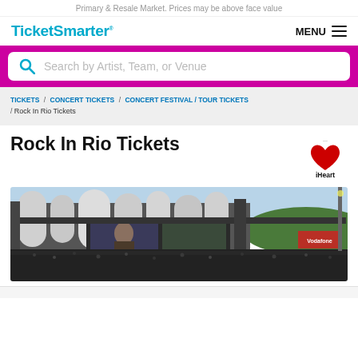Primary & Resale Market. Prices may be above face value
[Figure (logo): TicketSmarter logo and MENU navigation bar]
[Figure (screenshot): Search bar with magenta/pink background and placeholder text 'Search by Artist, Team, or Venue']
TICKETS / CONCERT TICKETS / CONCERT FESTIVAL / TOUR TICKETS / Rock In Rio Tickets
Rock In Rio Tickets
[Figure (logo): iHeartRadio logo — red heart with iHeart RADIO text]
[Figure (photo): Wide concert stage photo showing large crowd at Rock In Rio festival with stage setup featuring cylindrical structures]